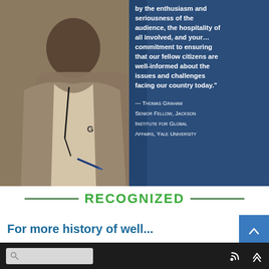[Figure (photo): A person wearing a hoodie and lanyard, seated, holding a pen, with a dark blue overlay panel on the right side containing a quote in white bold text.]
by the enthusiasm and seriousness of the audience, the hospitality of all involved, and your… commitment to ensuring that our fellow citizens are well-informed about the issues and challenges facing our country today."
— Thomas Graham Senior Fellow, Jackson Institute for Global Affairs, Yale University
RECOGNIZED
For more history of well...